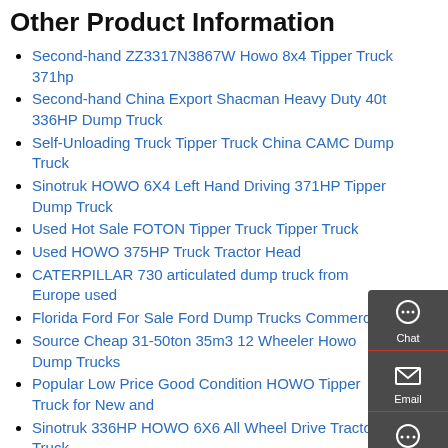Other Product Information
Second-hand ZZ3317N3867W Howo 8x4 Tipper Truck 371hp
Second-hand China Export Shacman Heavy Duty 40t 336HP Dump Truck
Self-Unloading Truck Tipper Truck China CAMC Dump Truck
Sinotruk HOWO 6X4 Left Hand Driving 371HP Tipper Dump Truck
Used Hot Sale FOTON Tipper Truck Tipper Truck
Used HOWO 375HP Truck Tractor Head
CATERPILLAR 730 articulated dump truck from Europe used
Florida Ford For Sale Ford Dump Trucks Commercial
Source Cheap 31-50ton 35m3 12 Wheeler Howo Dump Trucks
Popular Low Price Good Condition HOWO Tipper Truck for New and
Sinotruk 336HP HOWO 6X6 All Wheel Drive Tractor Truck
Used Original Sinotruk HOWO Heavy Dump Truck 6 4